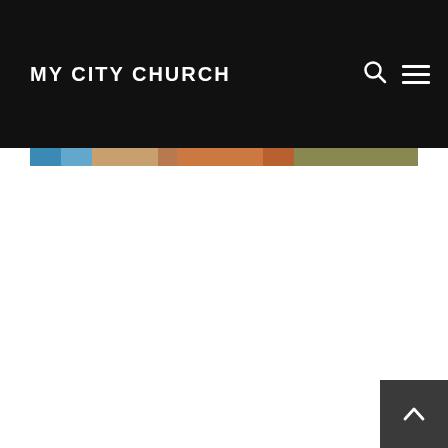MY CITY CHURCH
[Figure (photo): A narrow horizontal strip showing a collage of images including blue sky/water tones on the left and warm brown/orange/olive tones toward the right, appearing to be partial views of people or landscapes.]
[Figure (other): Back-to-top button arrow icon in bottom right corner, dark gray square with white chevron/caret pointing upward.]